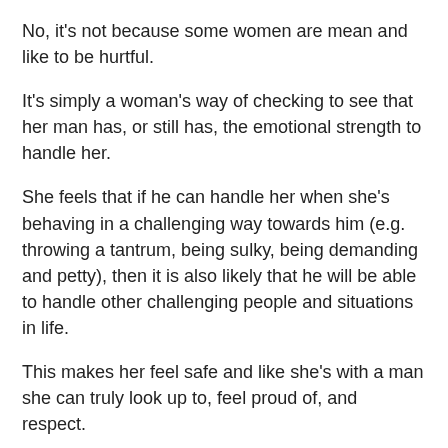No, it's not because some women are mean and like to be hurtful.
It's simply a woman's way of checking to see that her man has, or still has, the emotional strength to handle her.
She feels that if he can handle her when she's behaving in a challenging way towards him (e.g. throwing a tantrum, being sulky, being demanding and petty), then it is also likely that he will be able to handle other challenging people and situations in life.
This makes her feel safe and like she's with a man she can truly look up to, feel proud of, and respect.
Yet, some guys feel that if they say no to their woman, stand up to her and refuse to accept her bad behavior, she will stop loving them and she will want to break up with them.